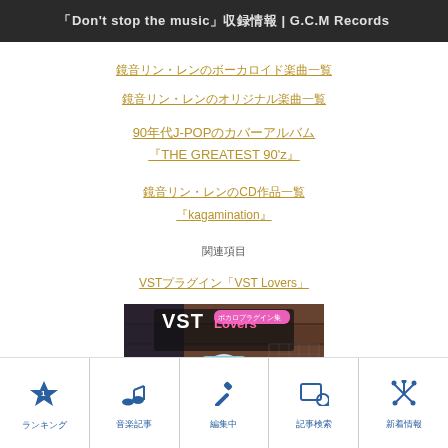「Don't stop the music」収録情報 | G.C.M Records
鏡音リン・レンのボーカロイド楽曲一覧
鏡音リン・レンのオリジナル楽曲一覧
90年代J-POPのカバーアルバム『THE GREATEST 90'z』
鏡音リン・レンのCD作品一覧『kagamination』
関連項目
VSTプラグイン「VST Lovers」
[Figure (photo): VST Lovers album cover featuring Hatsune Miku anime character with blue hair in front of brick wall]
ランキング | 音楽記事 | 編集中 | 記事検索 | 新着情報